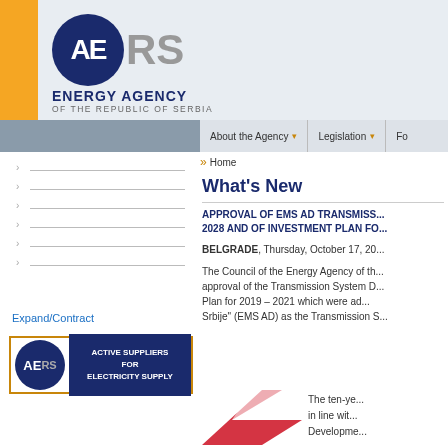[Figure (logo): Energy Agency of the Republic of Serbia logo with dark blue circle containing AE monogram in white, RS text in grey, and agency name below]
About the Agency | Legislation | F...
Home
What's New
APPROVAL OF EMS AD TRANSMISSION ... 2028 AND OF INVESTMENT PLAN FO...
BELGRADE, Thursday, October 17, 20...
The Council of the Energy Agency of th... approval of the Transmission System D... Plan for 2019 – 2021 which were ad... Srbije" (EMS AD) as the Transmission S...
Expand/Contract
[Figure (logo): Active Suppliers for Electricity Supply badge with AERS logo]
[Figure (illustration): Red and white arrow/lightning bolt graphic at bottom left of main content area]
The ten-ye... in line wit... Developme...